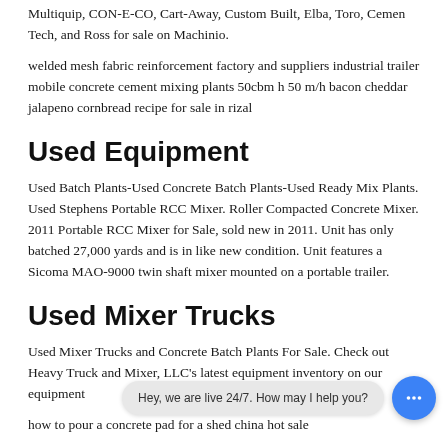Multiquip, CON-E-CO, Cart-Away, Custom Built, Elba, Toro, Cemen Tech, and Ross for sale on Machinio.
welded mesh fabric reinforcement factory and suppliers industrial trailer mobile concrete cement mixing plants 50cbm h 50 m/h bacon cheddar jalapeno cornbread recipe for sale in rizal
Used Equipment
Used Batch Plants-Used Concrete Batch Plants-Used Ready Mix Plants. Used Stephens Portable RCC Mixer. Roller Compacted Concrete Mixer. 2011 Portable RCC Mixer for Sale, sold new in 2011. Unit has only batched 27,000 yards and is in like new condition. Unit features a Sicoma MAO-9000 twin shaft mixer mounted on a portable trailer.
Used Mixer Trucks
Used Mixer Trucks and Concrete Batch Plants For Sale. Check out Heavy Truck and Mixer, LLC's latest equipment inventory on our equipment
how to pour a concrete pad for a shed china hot sale